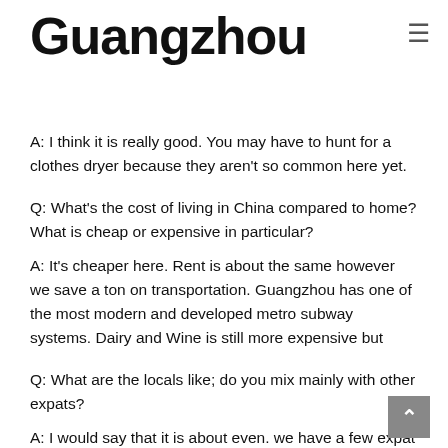Guangzhou
A: I think it is really good. You may have to hunt for a clothes dryer because they aren't so common here yet.
Q: What's the cost of living in China compared to home? What is cheap or expensive in particular?
A: It's cheaper here. Rent is about the same however we save a ton on transportation. Guangzhou has one of the most modern and developed metro subway systems. Dairy and Wine is still more expensive but
Q: What are the locals like; do you mix mainly with other expats?
A: I would say that it is about even. we have a few expat